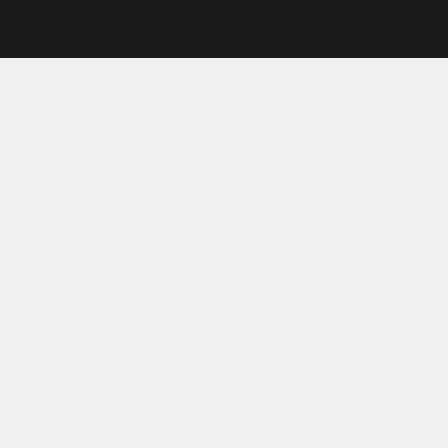Cyberseminar: [Organized by t…
Seminar: Trade… Bristol, UK, 23- [Organized by t…
Publication: … Frameworks, … 21, issue 4, Ju…
Seminar: Fertil… [Organized by t…
Seminar: Early… France, 26-27 Ju… [Organized by t…
Publication: …